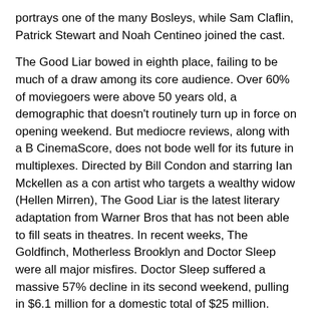portrays one of the many Bosleys, while Sam Claflin, Patrick Stewart and Noah Centineo joined the cast.
The Good Liar bowed in eighth place, failing to be much of a draw among its core audience. Over 60% of moviegoers were above 50 years old, a demographic that doesn't routinely turn up in force on opening weekend. But mediocre reviews, along with a B CinemaScore, does not bode well for its future in multiplexes. Directed by Bill Condon and starring Ian Mckellen as a con artist who targets a wealthy widow (Hellen Mirren), The Good Liar is the latest literary adaptation from Warner Bros that has not been able to fill seats in theatres. In recent weeks, The Goldfinch, Motherless Brooklyn and Doctor Sleep were all major misfires. Doctor Sleep suffered a massive 57% decline in its second weekend, pulling in $6.1 million for a domestic total of $25 million.
It is not all bad news on the Warner Bros lot. This weekend, Joker officially became the first R-rated movie in history to gross over $1 billion at the global box office. All the more impressive, it is only the third